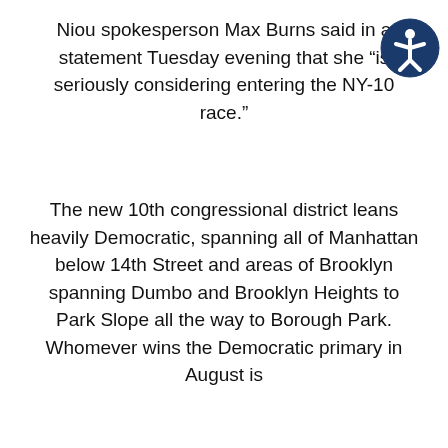Niou spokesperson Max Burns said in a statement Tuesday evening that she “is seriously considering entering the NY-10 race.”
The new 10th congressional district leans heavily Democratic, spanning all of Manhattan below 14th Street and areas of Brooklyn spanning Dumbo and Brooklyn Heights to Park Slope all the way to Borough Park. Whomever wins the Democratic primary in August is
We use cookies on our website to give you the most relevant experience by remembering your preferences and repeat visits. By clicking “Accept All”, you consent to the use of ALL the cookies. However, you may visit “Cookie Settings” to provide a controlled consent.